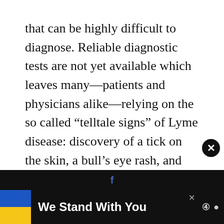that can be highly difficult to diagnose. Reliable diagnostic tests are not yet available which leaves many—patients and physicians alike—relying on the so called “telltale signs” of Lyme disease: discovery of a tick on the skin, a bull’s eye rash, and possibly joint pain. However, ILADS research indicates
Don’t miss each new article!
[Figure (screenshot): Email signup input box with placeholder text 'Email Address*']
[Figure (screenshot): Advertisement banner at the bottom: Ukrainian flag colors (blue and yellow) with text 'We Stand With You' on dark background, with social media icons and close button]